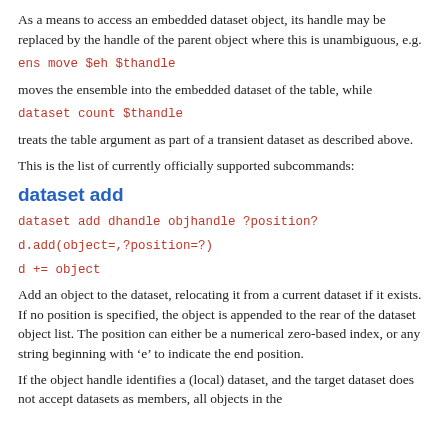As a means to access an embedded dataset object, its handle may be replaced by the handle of the parent object where this is unambiguous, e.g.
ens move $eh $thandle
moves the ensemble into the embedded dataset of the table, while
dataset count $thandle
treats the table argument as part of a transient dataset as described above.
This is the list of currently officially supported subcommands:
dataset add
dataset add dhandle objhandle ?position?
d.add(object=,?position=?)
d += object
Add an object to the dataset, relocating it from a current dataset if it exists. If no position is specified, the object is appended to the rear of the dataset object list. The position can either be a numerical zero-based index, or any string beginning with ‘e’ to indicate the end position.
If the object handle identifies a (local) dataset, and the target dataset does not accept datasets as members, all objects in the source dataset are joined into the target dataset through the